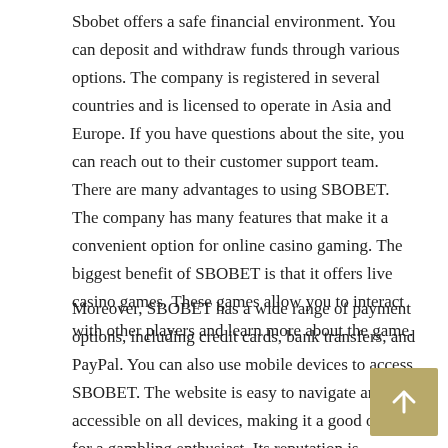Sbobet offers a safe financial environment. You can deposit and withdraw funds through various options. The company is registered in several countries and is licensed to operate in Asia and Europe. If you have questions about the site, you can reach out to their customer support team. There are many advantages to using SBOBET. The company has many features that make it a convenient option for online casino gaming. The biggest benefit of SBOBET is that it offers live casino games. These games allow you to interact with other players and learn more about the game.
Moreover, SBOBET has a wide range of payment options, including credit cards, bank transfers, and PayPal. You can also use mobile devices to access SBOBET. The website is easy to navigate and accessible on all devices, making it a good option for a gambling enthusiast. Its reputation is internationally recognized. It has won many awards for its online services. There are also many different payment methods. The